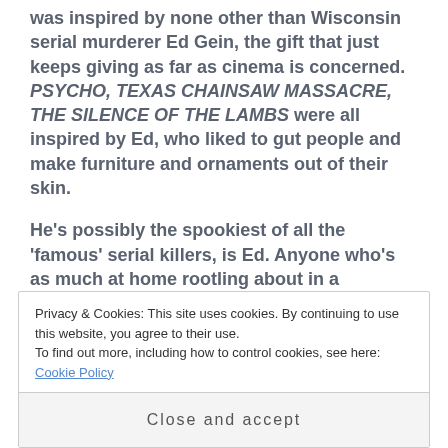was inspired by none other than Wisconsin serial murderer Ed Gein, the gift that just keeps giving as far as cinema is concerned. PSYCHO, TEXAS CHAINSAW MASSACRE, THE SILENCE OF THE LAMBS were all inspired by Ed, who liked to gut people and make furniture and ornaments out of their skin.
He's possibly the spookiest of all the 'famous' serial killers, is Ed. Anyone who's as much at home rootling about in a cemetery as in his house, as comfortable around the dead as the
Privacy & Cookies: This site uses cookies. By continuing to use this website, you agree to their use.
To find out more, including how to control cookies, see here: Cookie Policy
Close and accept